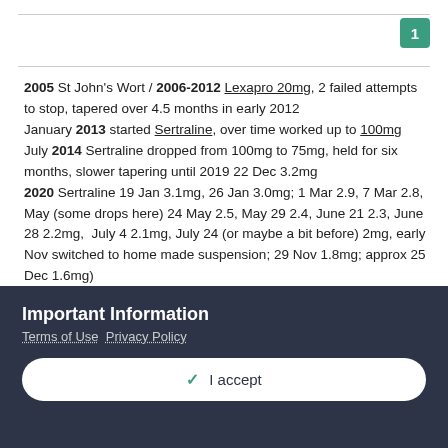1
2005 St John's Wort / 2006-2012 Lexapro 20mg, 2 failed attempts to stop, tapered over 4.5 months in early 2012
January 2013 started Sertraline, over time worked up to 100mg
July 2014 Sertraline dropped from 100mg to 75mg, held for six months, slower tapering until 2019 22 Dec 3.2mg
2020 Sertraline 19 Jan 3.1mg, 26 Jan 3.0mg; 1 Mar 2.9, 7 Mar 2.8, May (some drops here) 24 May 2.5, May 29 2.4, June 21 2.3, June 28 2.2mg,  July 4 2.1mg, July 24 (or maybe a bit before) 2mg, early Nov switched to home made suspension; 29 Nov 1.8mg; approx 25 Dec 1.6mg)
2021 Some time in about Jan/Feb realised probably on more like
Important Information
Terms of Use  Privacy Policy
✓  I accept